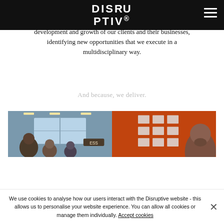DISRUPTIVE
development and growth of our clients and their businesses, identifying new opportunities that we execute in a multidisciplinary way.
And because, we deliver.
[Figure (photo): Two side-by-side photos: left shows people in an office/workshop setting with large windows; right shows a bearded man against an orange wall with sticky notes or cards arranged in a grid]
We use cookies to analyse how our users interact with the Disruptive website - this allows us to personalise your website experience. You can allow all cookies or manage them individually. Accept cookies